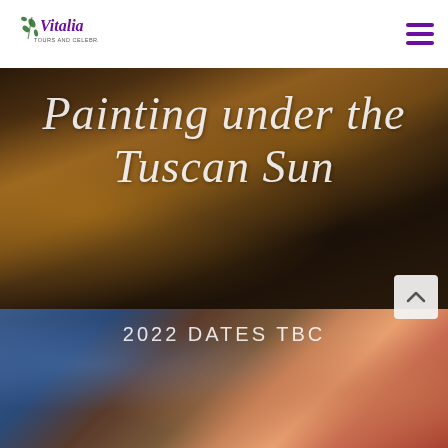Vitalia Tours and Celebrations logo; hamburger menu
[Figure (photo): Dark blurred warm-toned background showing a close-up of a stone/ceramic object and a paint brush, warm ochre and brown tones, serving as hero background image]
Painting under the Tuscan Sun
[Figure (photo): Colorful watercolor painting of Mediterranean buildings visible in lower right portion of page, with warm peach and blue tones]
2022 DATES TBC